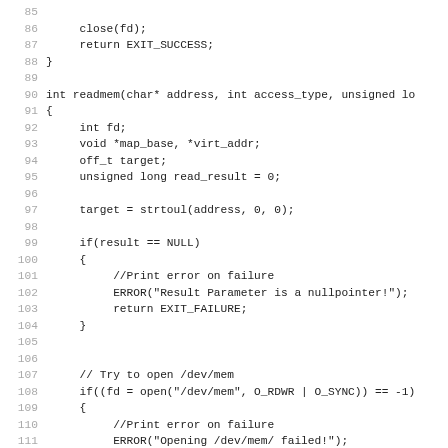[Figure (other): Source code listing in C showing lines 85-116 of a program. Includes close(fd), return EXIT_SUCCESS, readmem function definition with fd, map_base, virt_addr, off_t target, unsigned long read_result variables, strtoul call, null pointer check with ERROR macro, file open check for /dev/mem, and mmap call.]